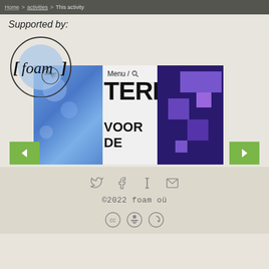Home > activities > This activity
Supported by:
[Figure (logo): foam [foam] organization logo — circular design with [foam] text]
[Figure (screenshot): Sponsor banner showing partial text 'TERD' and 'VOOR DE' with blue and purple pixel/block graphic design, and 'Menu / search' navigation overlay]
[Figure (other): Previous page navigation button (green, left-pointing triangle)]
[Figure (other): Next page navigation button (green, right-pointing triangle)]
©2022 foam oü
[Figure (other): Creative Commons license icons: CC, BY, SA]